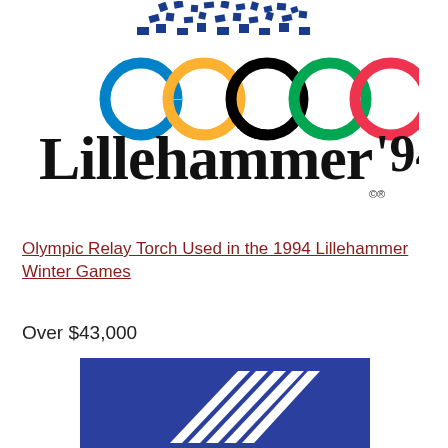[Figure (logo): Lillehammer '94 Winter Olympics logo with Olympic rings (blue, yellow, black, green, red) and snowflake/bird motif above the text 'Lillehammer '94' with copyright symbol]
Olympic Relay Torch Used in the 1994 Lillehammer Winter Games
Over $43,000
[Figure (logo): Blue square logo with white diagonal striped ribbon/torch design representing the 1994 Lillehammer Winter Games]